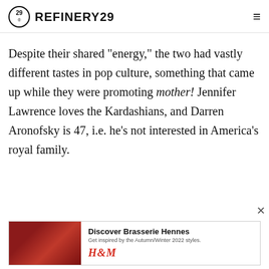REFINERY29
Despite their shared "energy," the two had vastly different tastes in pop culture, something that came up while they were promoting mother! Jennifer Lawrence loves the Kardashians, and Darren Aronofsky is 47, i.e. he's not interested in America's royal family.
[Figure (photo): Advertisement banner for H&M Brasserie Hennes Autumn/Winter 2022 styles, featuring a woman in red against a restaurant background.]